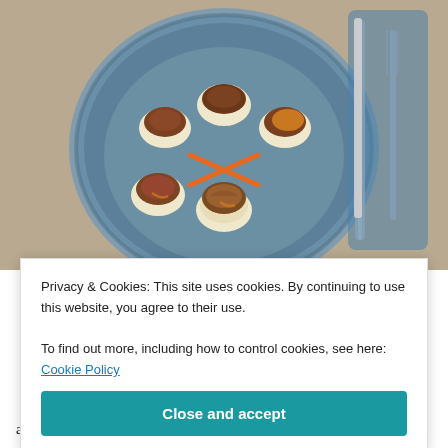[Figure (photo): Food photo: a blue ceramic plate with five scallop-like pieces topped with roasted mushrooms and caramel sauce, garnished with orange carrot strips arranged in a cross pattern, with cutlery (knife and fork) visible to the right on a wooden table.]
CONIGLIO AFFUMICATO AL GINEPRO CON PUREE DI PATATE E CAROTE
Privacy & Cookies: This site uses cookies. By continuing to use this website, you agree to their use.
To find out more, including how to control cookies, see here: Cookie Policy
Close and accept
also a really swift way to steam through €100 of our